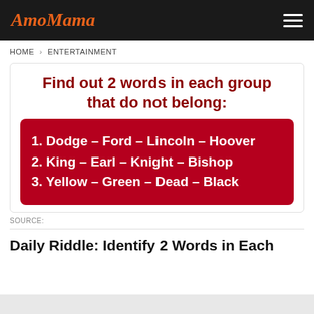AmoMama
HOME > ENTERTAINMENT
Find out 2 words in each group that do not belong:
1. Dodge – Ford – Lincoln – Hoover
2. King – Earl – Knight – Bishop
3. Yellow – Green – Dead – Black
SOURCE:
Daily Riddle: Identify 2 Words in Each